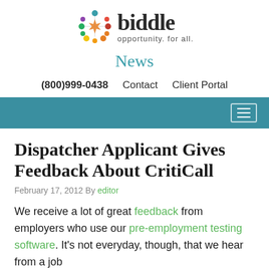[Figure (logo): Biddle logo with colorful star/people icon and text 'biddle opportunity. for all.']
News
(800)999-0438   Contact   Client Portal
[Figure (other): Teal navigation bar with hamburger menu icon on the right]
Dispatcher Applicant Gives Feedback About CritiCall
February 17, 2012 By editor
We receive a lot of great feedback from employers who use our pre-employment testing software. It's not everyday, though, that we hear from a job...